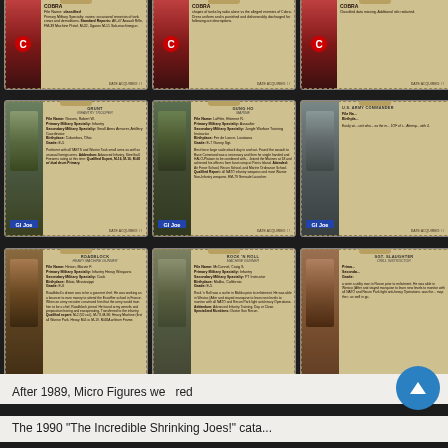[Figure (photo): Grid of G.I. Joe and Cobra character file cards, 3 columns x 3 rows. Row 1: Cobra character cards (partially visible top). Row 2: G.I. Joe cards - Grunt (Infantry Trooper), Gung-Ho (Marine), and partial third card (U.S. Army Commander). Row 3: Roadblock (Heavy Machine Gunner), Rock 'N Roll (Machine Gunner), Sgt. Slaughter (Drill Instructor). Each card shows character art on left, file card text with name, military specialty, birthplace, grade, bio info, and G.I. Joe or Cobra logo.]
After 1989, Micro Figures we... red
The 1990 "The Incredible Shrinking Joes!" cata...